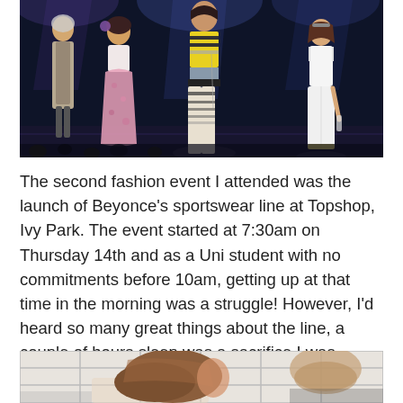[Figure (photo): Fashion show on a dark stage with dramatic lighting. Multiple models/people on stage: one in a pink floral dress on the left, one in a yellow and black striped outfit in the center, one in a white outfit on the right, and another figure on the far left. Blue and purple stage lighting beams from above.]
The second fashion event I attended was the launch of Beyonce's sportswear line at Topshop, Ivy Park. The event started at 7:30am on Thursday 14th and as a Uni student with no commitments before 10am, getting up at that time in the morning was a struggle! However, I'd heard so many great things about the line, a couple of hours sleep was a sacrifice I was willing to make!
[Figure (photo): Close-up photo of a person with long brown hair viewed from behind/side, sitting in what appears to be a white tiled room. Another person is partially visible in the background.]